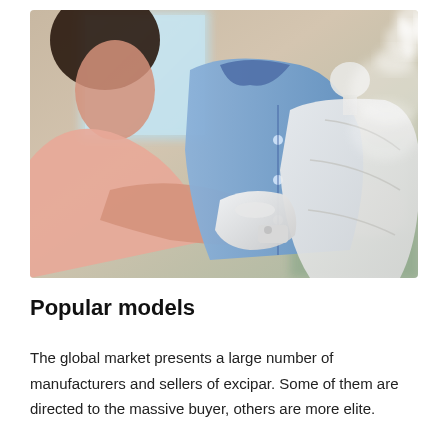[Figure (photo): A person using a handheld garment steamer on a blue shirt mounted on a white dress form/mannequin. Steam is visible rising from the top. The background shows a blurred home interior.]
Popular models
The global market presents a large number of manufacturers and sellers of excipar. Some of them are directed to the massive buyer, others are more elite.